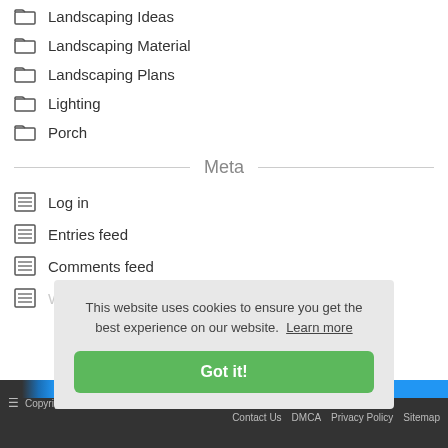Landscaping Ideas
Landscaping Material
Landscaping Plans
Lighting
Porch
Meta
Log in
Entries feed
Comments feed
WordPress.org
This website uses cookies to ensure you get the best experience on our website. Learn more
Got it!
Copyright © Porch and Landscaping Design Ideas   Contact Us   DMCA   Privacy Policy   Sitemap